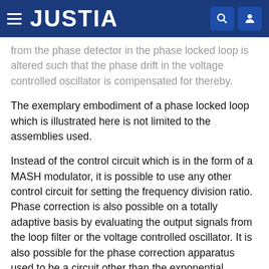JUSTIA
from the phase detector in the phase locked loop is altered such that the phase drift in the voltage controlled oscillator is compensated for thereby.
The exemplary embodiment of a phase locked loop which is illustrated here is not limited to the assemblies used.
Instead of the control circuit which is in the form of a MASH modulator, it is possible to use any other control circuit for setting the frequency division ratio. Phase correction is also possible on a totally adaptive basis by evaluating the output signals from the loop filter or the voltage controlled oscillator. It is also possible for the phase correction apparatus used to be a circuit other than the exponential function generator illustrated here. However, the phase or frequency correction signal should preferably have the same time profile as the